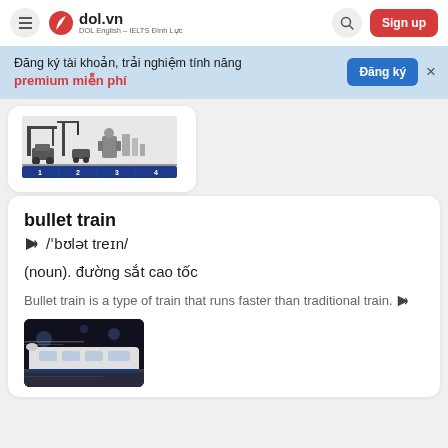dol.vn — DOL English - IELTS Đình Lực — Sign up
Đăng ký tài khoản, trải nghiệm tính năng premium miễn phí — Đăng ký
[Figure (illustration): Industrial/transportation cartoon image with numbered tabs 1 2 3 4 in a blue bar]
bullet train
🔊 /ˈbʊlət treɪn/
(noun). đường sắt cao tốc
Bullet train is a type of train that runs faster than traditional train. 🔊
[Figure (photo): Photo of a bullet train in motion, dark background]